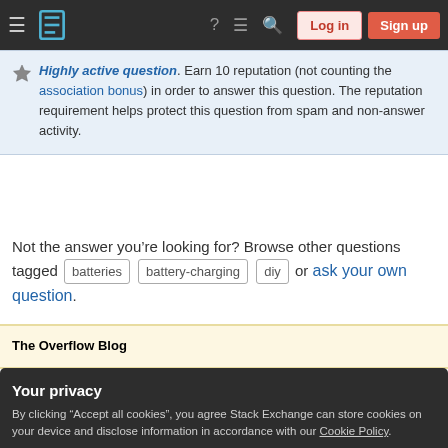Stack Exchange navigation bar with hamburger menu, logo, help, chat, search icons, Log in and Sign up buttons
Highly active question. Earn 10 reputation (not counting the association bonus) in order to answer this question. The reputation requirement helps protect this question from spam and non-answer activity.
Not the answer you're looking for? Browse other questions tagged batteries battery-charging diy or ask your own question.
The Overflow Blog
Your privacy
By clicking "Accept all cookies", you agree Stack Exchange can store cookies on your device and disclose information in accordance with our Cookie Policy.
Accept all cookies   Customize settings